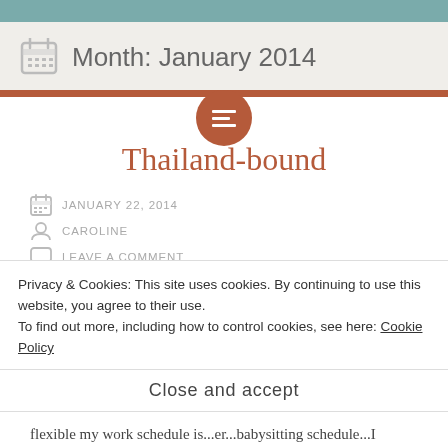Month: January 2014
Thailand-bound
JANUARY 22, 2014
CAROLINE
LEAVE A COMMENT
Before I litter this blog with tons of pictures from Asia,
Privacy & Cookies: This site uses cookies. By continuing to use this website, you agree to their use. To find out more, including how to control cookies, see here: Cookie Policy
Close and accept
flexible my work schedule is...er...babysitting schedule...I